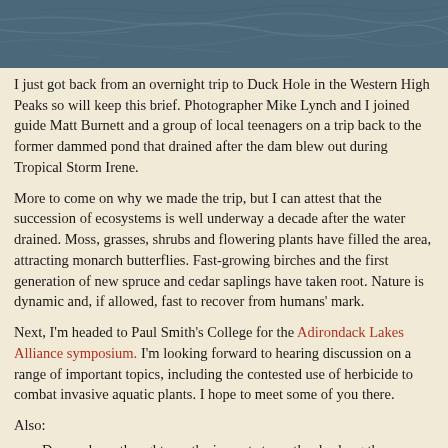[Figure (photo): A dark blue-grey water surface photograph, likely a lake or pond, showing rippled water texture from above.]
I just got back from an overnight trip to Duck Hole in the Western High Peaks so will keep this brief. Photographer Mike Lynch and I joined guide Matt Burnett and a group of local teenagers on a trip back to the former dammed pond that drained after the dam blew out during Tropical Storm Irene.
More to come on why we made the trip, but I can attest that the succession of ecosystems is well underway a decade after the water drained. Moss, grasses, shrubs and flowering plants have filled the area, attracting monarch butterflies. Fast-growing birches and the first generation of new spruce and cedar saplings have taken root. Nature is dynamic and, if allowed, fast to recover from humans' mark.
Next, I'm headed to Paul Smith's College for the Adirondack Lakes Alliance symposium. I'm looking forward to hearing discussion on a range of important topics, including the contested use of herbicide to combat invasive aquatic plants. I hope to meet some of you there.
Also:
Do you have thoughts on the impacts to wetlands along the Adirondack Rail Trail? The state wants to hear them.
A canoe maker is helping employ people with disabilities.
Tim Rowland explores the place of baseball in the Adirondacks.